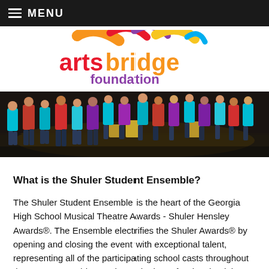MENU
[Figure (logo): ArtsBridge Foundation logo with colorful arc shapes above the text 'artsbridge' in red and orange, and 'foundation' in purple below]
[Figure (photo): Group of high school students dancing on a stage, wearing colorful t-shirts (teal, red, purple), performing at the Shuler Awards event]
What is the Shuler Student Ensemble?
The Shuler Student Ensemble is the heart of the Georgia High School Musical Theatre Awards - Shuler Hensley Awards®. The Ensemble electrifies the Shuler Awards® by opening and closing the event with exceptional talent, representing all of the participating school casts throughout the state. Ensemble members obtain professional training and